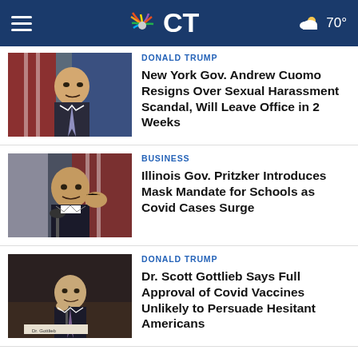NBC CT — 70°
DONALD TRUMP
New York Gov. Andrew Cuomo Resigns Over Sexual Harassment Scandal, Will Leave Office in 2 Weeks
[Figure (photo): Photo of Governor Andrew Cuomo at a podium with American flags in background]
BUSINESS
Illinois Gov. Pritzker Introduces Mask Mandate for Schools as Covid Cases Surge
[Figure (photo): Photo of Illinois Governor Pritzker gesturing at a press conference]
DONALD TRUMP
Dr. Scott Gottlieb Says Full Approval of Covid Vaccines Unlikely to Persuade Hesitant Americans
[Figure (photo): Photo of Dr. Scott Gottlieb at a congressional hearing]